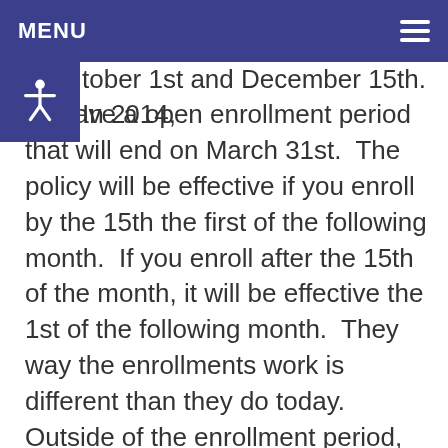MENU
tober 1st and December 15th. In 2014, ey have a open enrollment period that will end on March 31st. The policy will be effective if you enroll by the 15th the first of the following month. If you enroll after the 15th of the month, it will be effective the 1st of the following month. They way the enrollments work is different than they do today. Outside of the enrollment period, they will not be able to make any changes, you can only make changes if you have a life event or move out of the service area. If you miss the open enrollment, there is no opportunity for enrollment. This is a big